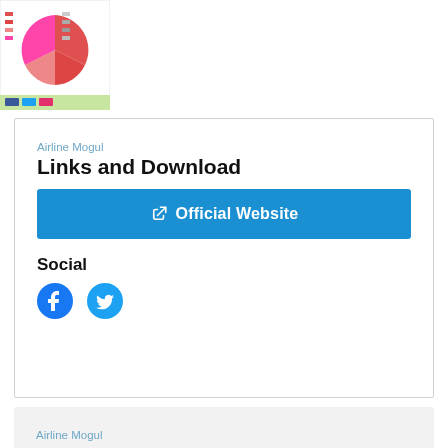[Figure (other): Thumbnail image of a pie chart for Airline Mogul]
Airline Mogul
Links and Download
⇔ Official Website
Social
[Figure (illustration): Facebook and Twitter social media icons in blue]
Airline Mogul
Summary
Our users have written 0 comments and reviews about Airline Mogul, and it has gotten 0 likes